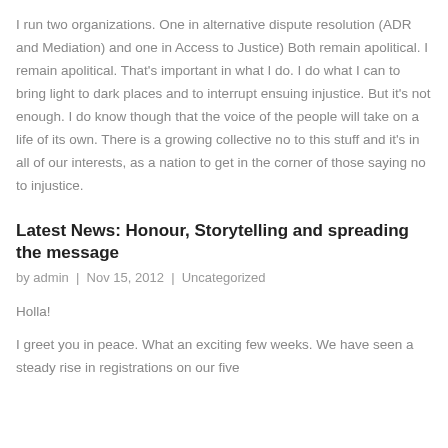I run two organizations. One in alternative dispute resolution (ADR and Mediation) and one in Access to Justice) Both remain apolitical. I remain apolitical. That's important in what I do. I do what I can to bring light to dark places and to interrupt ensuing injustice. But it's not enough. I do know though that the voice of the people will take on a life of its own. There is a growing collective no to this stuff and it's in all of our interests, as a nation to get in the corner of those saying no to injustice.
Latest News: Honour, Storytelling and spreading the message
by admin  |  Nov 15, 2012  |  Uncategorized
Holla!
I greet you in peace. What an exciting few weeks. We have seen a steady rise in registrations on our five